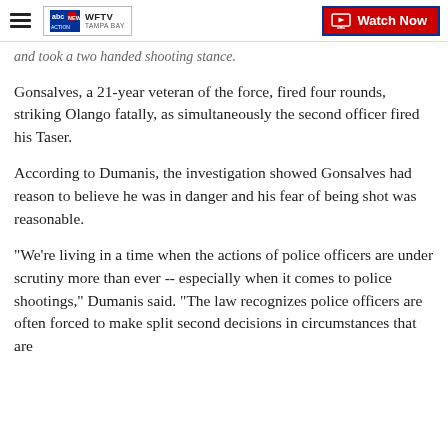WFTV TAMPA BAY | Watch Now
and took a two handed shooting stance.
Gonsalves, a 21-year veteran of the force, fired four rounds, striking Olango fatally, as simultaneously the second officer fired his Taser.
According to Dumanis, the investigation showed Gonsalves had reason to believe he was in danger and his fear of being shot was reasonable.
"We're living in a time when the actions of police officers are under scrutiny more than ever -- especially when it comes to police shootings," Dumanis said. "The law recognizes police officers are often forced to make split second decisions in circumstances that are